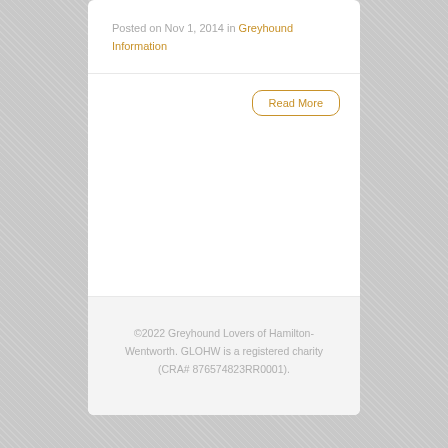Posted on Nov 1, 2014 in Greyhound Information
Read More
©2022 Greyhound Lovers of Hamilton-Wentworth. GLOHW is a registered charity (CRA# 876574823RR0001).